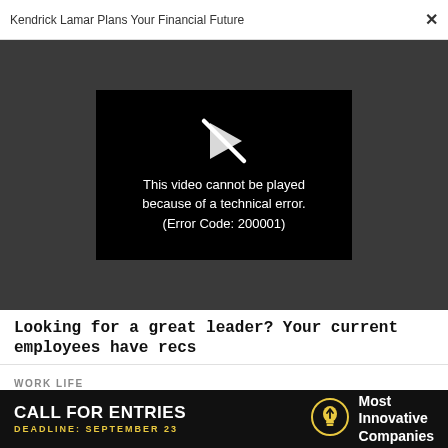Kendrick Lamar Plans Your Financial Future  ×
[Figure (screenshot): Video player showing error message: 'This video cannot be played because of a technical error. (Error Code: 200001)' on black background with broken play icon, set against a dark gray background.]
Looking for a great leader? Your current employees have recs
WORK LIFE
Your probably won't ace a job interview without doing this one thing
[Figure (infographic): Advertisement banner: 'CALL FOR ENTRIES DEADLINE: SEPTEMBER 23' with lightbulb icon and 'Most Innovative Companies' text on black background.]